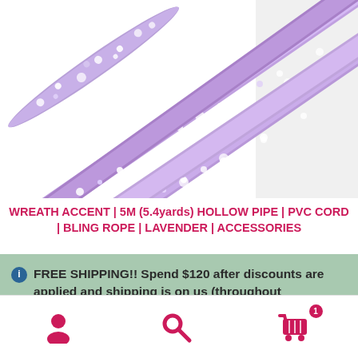[Figure (photo): Close-up photo of glittery lavender/purple sparkly rope or cord strands arranged diagonally on white background]
WREATH ACCENT | 5M (5.4yards) HOLLOW PIPE | PVC CORD | BLING ROPE | LAVENDER | ACCESSORIES
FREE SHIPPING!! Spend $120 after discounts are applied and shipping is on us (throughout continental US and Canada)!!
Dismiss